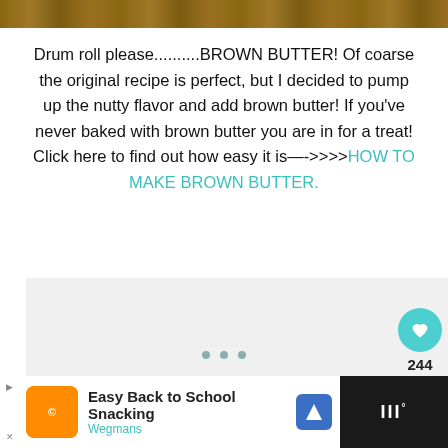[Figure (photo): Top strip showing a baked food item (brown color) partially visible at the top of the page]
Drum roll please..........BROWN BUTTER! Of coarse the original recipe is perfect, but I decided to pump up the nutty flavor and add brown butter! If you've never baked with brown butter you are in for a treat! Click here to find out how easy it is—->>>>HOW TO MAKE BROWN BUTTER.
[Figure (screenshot): Gray background area serving as an embedded content/image placeholder with sidebar social buttons (heart icon with count 244, share icon) and a 'What's Next: Easy Caramel Drizzle' recommendation card in the lower right]
[Figure (other): Advertisement bar at the bottom: Easy Back to School Snacking - Wegmans, with Wegmans logo and navigation icons]